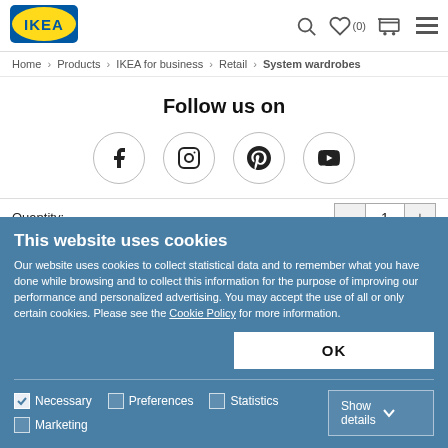[Figure (logo): IKEA logo - yellow oval with blue IKEA text on blue background]
IKEA website header with search, wishlist (0), cart, and menu icons
Home > Products > IKEA for business > Retail > System wardrobes
Follow us on
[Figure (infographic): Social media icons in circles: Facebook, Instagram, Pinterest, YouTube]
Quantity: 1
This website uses cookies
Our website uses cookies to collect statistical data and to remember what you have done while browsing and to collect this information for the purpose of improving our performance and personalized advertising. You may accept the use of all or only certain cookies. Please see the Cookie Policy for more information.
OK
Necessary  Preferences  Statistics  Marketing  Show details